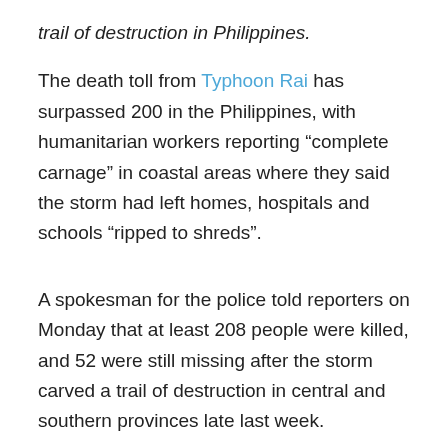trail of destruction in Philippines.
The death toll from Typhoon Rai has surpassed 200 in the Philippines, with humanitarian workers reporting “complete carnage” in coastal areas where they said the storm had left homes, hospitals and schools “ripped to shreds”.
A spokesman for the police told reporters on Monday that at least 208 people were killed, and 52 were still missing after the storm carved a trail of destruction in central and southern provinces late last week.